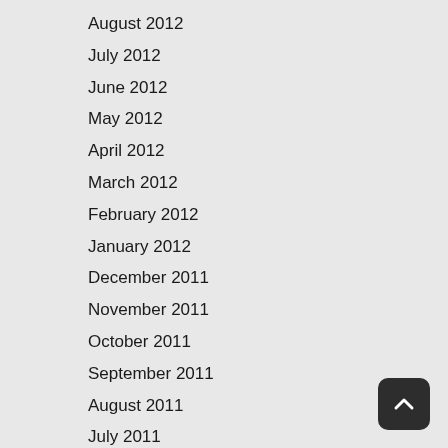August 2012
July 2012
June 2012
May 2012
April 2012
March 2012
February 2012
January 2012
December 2011
November 2011
October 2011
September 2011
August 2011
July 2011
June 2011
May 2011
April 2011